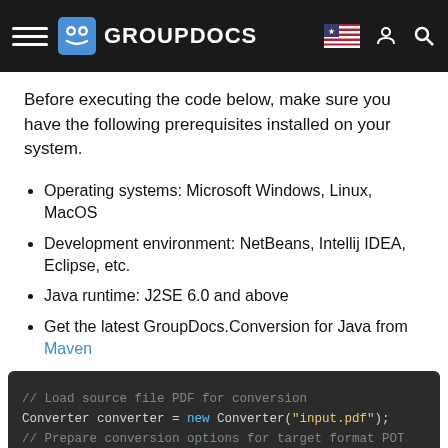GROUPDOCS
Before executing the code below, make sure you have the following prerequisites installed on your system.
Operating systems: Microsoft Windows, Linux, MacOS
Development environment: NetBeans, Intellij IDEA, Eclipse, etc.
Java runtime: J2SE 6.0 and above
Get the latest GroupDocs.Conversion for Java from Maven
[Figure (screenshot): Code block showing Java code for PDF to POT conversion using GroupDocs.Conversion. Lines: '// Load source file PDF for conversion', 'Converter converter = new Converter("input.pdf");', '// Prepare conversion options for target format POT', 'ConvertOptions convertOptions = new FileType().fro', 'xtension("pot").getConvertOptions();', '// Convert to POT format']